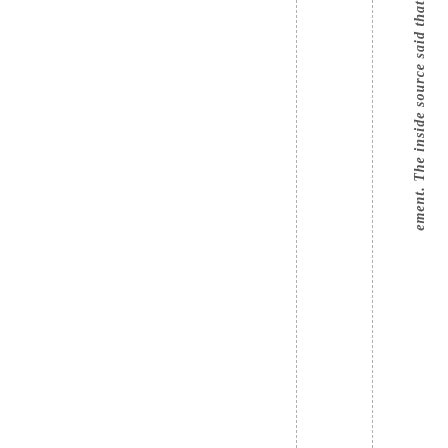ement. The inside source said that